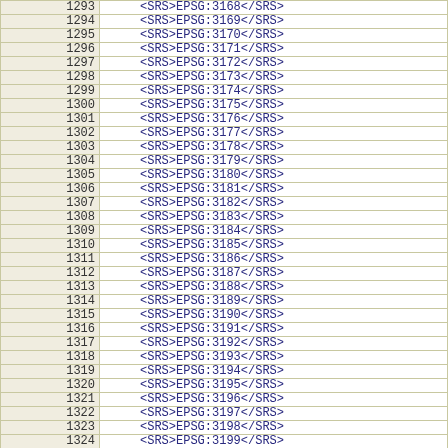| row | srs |
| --- | --- |
| 1293 | <SRS>EPSG:3168</SRS> |
| 1294 | <SRS>EPSG:3169</SRS> |
| 1295 | <SRS>EPSG:3170</SRS> |
| 1296 | <SRS>EPSG:3171</SRS> |
| 1297 | <SRS>EPSG:3172</SRS> |
| 1298 | <SRS>EPSG:3173</SRS> |
| 1299 | <SRS>EPSG:3174</SRS> |
| 1300 | <SRS>EPSG:3175</SRS> |
| 1301 | <SRS>EPSG:3176</SRS> |
| 1302 | <SRS>EPSG:3177</SRS> |
| 1303 | <SRS>EPSG:3178</SRS> |
| 1304 | <SRS>EPSG:3179</SRS> |
| 1305 | <SRS>EPSG:3180</SRS> |
| 1306 | <SRS>EPSG:3181</SRS> |
| 1307 | <SRS>EPSG:3182</SRS> |
| 1308 | <SRS>EPSG:3183</SRS> |
| 1309 | <SRS>EPSG:3184</SRS> |
| 1310 | <SRS>EPSG:3185</SRS> |
| 1311 | <SRS>EPSG:3186</SRS> |
| 1312 | <SRS>EPSG:3187</SRS> |
| 1313 | <SRS>EPSG:3188</SRS> |
| 1314 | <SRS>EPSG:3189</SRS> |
| 1315 | <SRS>EPSG:3190</SRS> |
| 1316 | <SRS>EPSG:3191</SRS> |
| 1317 | <SRS>EPSG:3192</SRS> |
| 1318 | <SRS>EPSG:3193</SRS> |
| 1319 | <SRS>EPSG:3194</SRS> |
| 1320 | <SRS>EPSG:3195</SRS> |
| 1321 | <SRS>EPSG:3196</SRS> |
| 1322 | <SRS>EPSG:3197</SRS> |
| 1323 | <SRS>EPSG:3198</SRS> |
| 1324 | <SRS>EPSG:3199</SRS> |